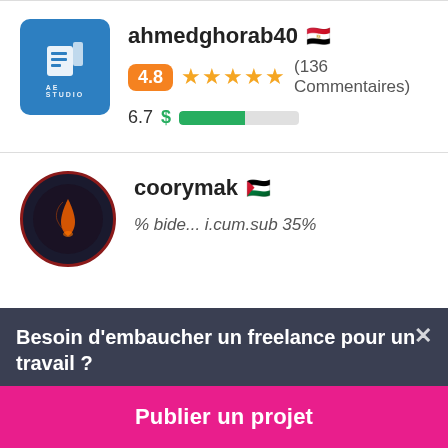ahmedghorab40 🇪🇬
4.8 ★★★★★ (136 Commentaires)
6.7 $ [progress bar]
coorymak 🇵🇸
% bide... i.cum.sub 35%
Besoin d'embaucher un freelance pour un travail ?
Publier un projet